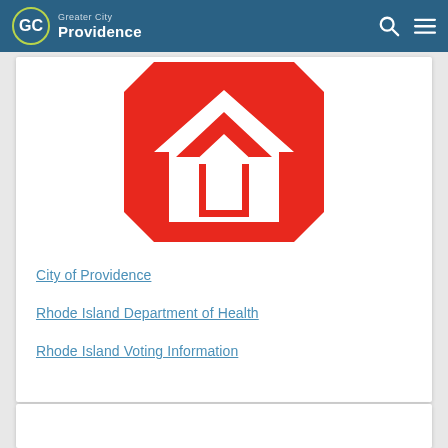Greater City Providence
[Figure (logo): National Association of Realtors style house/arrow logo in red and white]
City of Providence
Rhode Island Department of Health
Rhode Island Voting Information